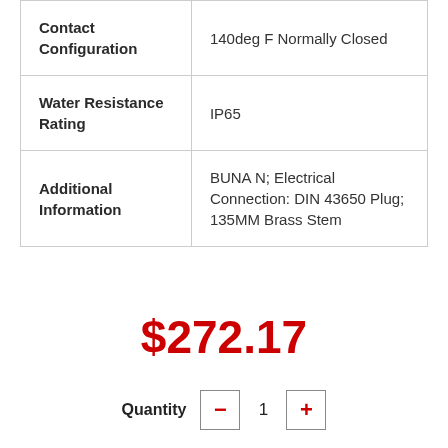| Property | Value |
| --- | --- |
| Contact Configuration | 140deg F Normally Closed |
| Water Resistance Rating | IP65 |
| Additional Information | BUNA N; Electrical Connection: DIN 43650 Plug; 135MM Brass Stem |
$272.17
Quantity - 1 +